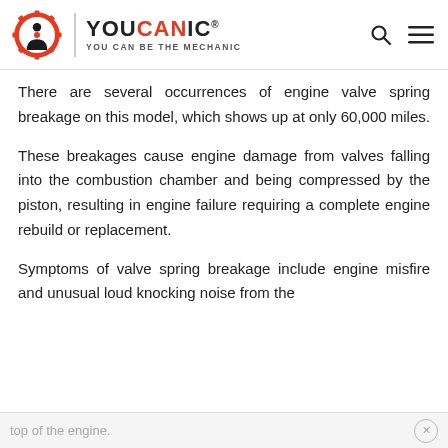[Figure (logo): YOUCANIC logo with gear/wrench icon and tagline YOU CAN BE THE MECHANIC]
There are several occurrences of engine valve spring breakage on this model, which shows up at only 60,000 miles.
These breakages cause engine damage from valves falling into the combustion chamber and being compressed by the piston, resulting in engine failure requiring a complete engine rebuild or replacement.
Symptoms of valve spring breakage include engine misfire and unusual loud knocking noise from the
top of the engine.